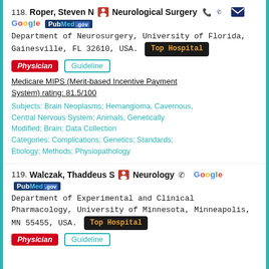118. Roper, Steven N - Neurological Surgery - Department of Neurosurgery, University of Florida, Gainesville, FL 32610, USA. Top Hospital. Physician. Guideline. Medicare MIPS (Merit-based Incentive Payment System) rating: 81.5/100. Subjects: Brain Neoplasms; Hemangioma, Cavernous, Central Nervous System; Animals, Genetically Modified; Brain; Data Collection. Categories: Complications; Genetics; Standards; Etiology; Methods; Physiopathology
119. Walczak, Thaddeus S - Neurology - Department of Experimental and Clinical Pharmacology, University of Minnesota, Minneapolis, MN 55455, USA. Top Hospital. Physician. Guideline.